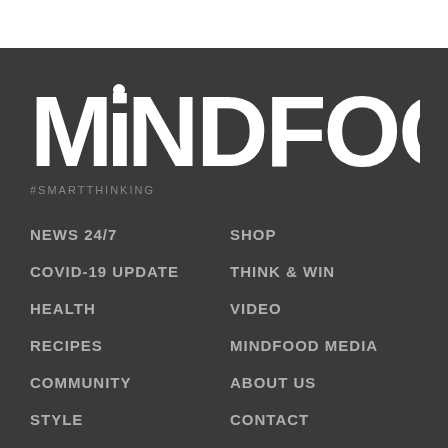[Figure (logo): MiNDFOOD logo with #SMARTTHINKING tagline, white text on dark grey background]
NEWS 24/7
SHOP
COVID-19 UPDATE
THINK & WIN
HEALTH
VIDEO
RECIPES
MINDFOOD MEDIA
COMMUNITY
ABOUT US
STYLE
CONTACT
DÉCOR
WEB POLICY